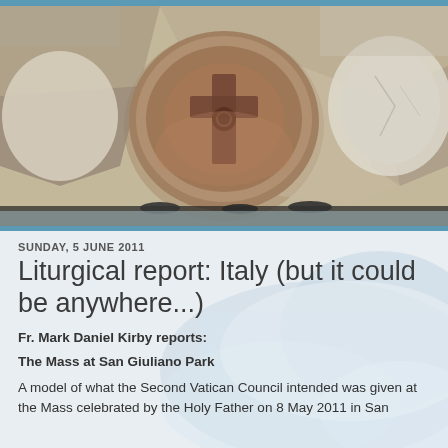[Figure (photo): Close-up photograph of ancient stone wall with a round stone bearing an engraved cross or religious symbol in the center, surrounded by other rough stones]
SUNDAY, 5 JUNE 2011
Liturgical report: Italy (but it could be anywhere...)
Fr. Mark Daniel Kirby reports:
The Mass at San Giuliano Park
A model of what the Second Vatican Council intended was given at the Mass celebrated by the Holy Father on 8 May 2011 in San